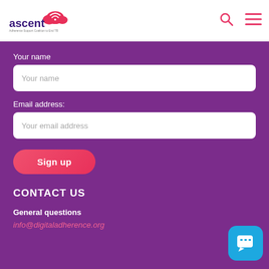[Figure (logo): ASCENT logo with cloud/wifi icon and tagline 'Adherence Support Coalition to End TB']
[Figure (other): Search icon (magnifying glass) in pink/red]
[Figure (other): Hamburger menu icon in pink/red]
Your name
Your name
Email address:
Your email address
Sign up
CONTACT US
General questions
info@digitaladherence.org